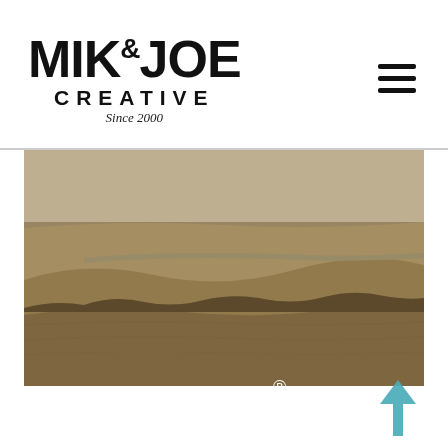[Figure (logo): MIK&JOE CREATIVE Since 2000 logo in bold black text]
[Figure (photo): Sepia-toned aerial landscape photograph of rolling plains and farmland with a river or road cutting through, trees and distant hills visible]
[Figure (logo): Gold metallic bar background with white text reading 'true' with registered trademark symbol and a teal upward arrow]